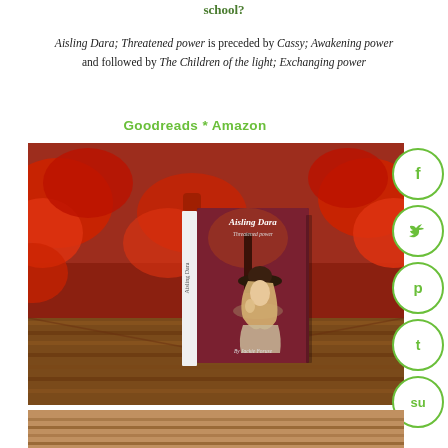school?
Aisling Dara; Threatened power is preceded by Cassy; Awakening power and followed by The Children of the light; Exchanging power
Goodreads * Amazon
[Figure (photo): Book cover of 'Aisling Dara; Threatened power' by Jackie Foruse, showing a blonde girl in a wide-brimmed hat against a red autumn tree background, displayed on a wooden surface surrounded by red maple leaves. Social media share icons (Facebook, Twitter, Pinterest, Tumblr, StumbleUpon) appear on the right side.]
[Figure (photo): Partial image at bottom of page, cropped.]